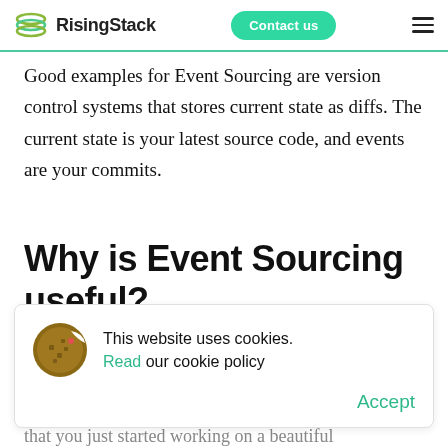RisingStack  Contact us
Good examples for Event Sourcing are version control systems that stores current state as diffs. The current state is your latest source code, and events are your commits.
Why is Event Sourcing useful?
[Figure (other): Cookie consent banner with cookie icon, text 'This website uses cookies. Read our cookie policy' and an Accept button.]
that you just started working on a beautiful